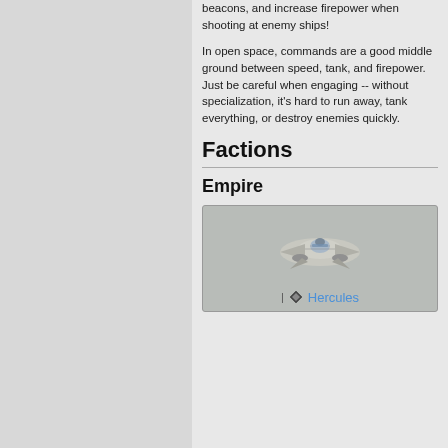beacons, and increase firepower when shooting at enemy ships!
In open space, commands are a good middle ground between speed, tank, and firepower. Just be careful when engaging -- without specialization, it's hard to run away, tank everything, or destroy enemies quickly.
Factions
Empire
[Figure (illustration): A spaceship image labeled Hercules with a diamond icon, displayed in a gray box]